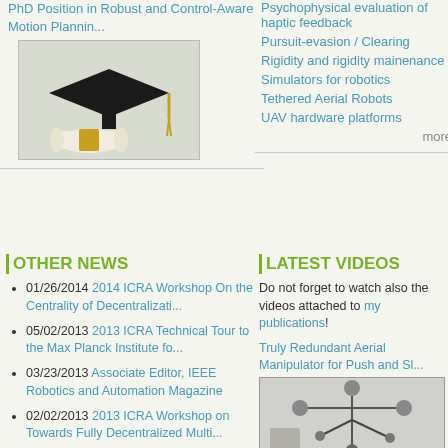PhD Position in Robust and Control-Aware Motion Plannin...
[Figure (photo): Graduation cap with diploma scroll]
Psychophysical evaluation of haptic feedback
Pursuit-evasion / Clearing
Rigidity and rigidity mainenance
Simulators for robotics
Tethered Aerial Robots
UAV hardware platforms
more
OTHER NEWS
01/26/2014 2014 ICRA Workshop On the Centrality of Decentralizati...
05/02/2013 2013 ICRA Technical Tour to the Max Planck Institute fo...
03/23/2013 Associate Editor, IEEE Robotics and Automation Magazine
02/02/2013 2013 ICRA Workshop on Towards Fully Decentralized Multi...
10/28/2012 2012 Demo Events on Intercontinental Shared Control of...
LATEST VIDEOS
Do not forget to watch also the videos attached to my publications!
Truly Redundant Aerial Manipulator for Push and Sl...
[Figure (photo): Aerial manipulator robot image]
Fundamental Actuation Properties of Multi-rotors:...
[Figure (photo): Multi-rotor drone image]
OTHex: the first Flying Assistant with